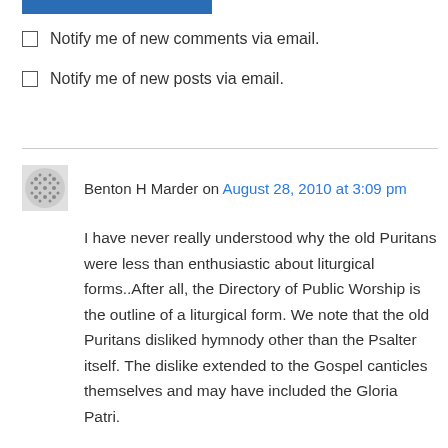[Figure (other): Blue horizontal bar at top of page]
Notify me of new comments via email.
Notify me of new posts via email.
Benton H Marder on August 28, 2010 at 3:09 pm
I have never really understood why the old Puritans were less than enthusiastic about liturgical forms..After all, the Directory of Public Worship is the outline of a liturgical form. We note that the old Puritans disliked hymnody other than the Psalter itself. The dislike extended to the Gospel canticles themselves and may have included the Gloria Patri.
Now, the old Puritans took sound preaching very